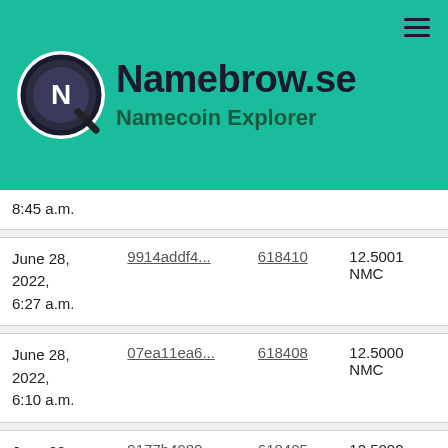Namebrow.se — Namecoin Explorer
| Date | Transaction | Block | Amount |
| --- | --- | --- | --- |
| June 28, 2022, 8:45 a.m. | 9914addf4... | 618410 | 12.5001 NMC |
| June 28, 2022, 6:27 a.m. | 07ea11ea6... | 618408 | 12.5000 NMC |
| June 28, 2022, 6:10 a.m. | 9177b4980... | 618405 | 12.5000 NMC |
| June 28, 2022, 5:40 a.m. | f8dcf3d0c... | 618398 | 12.5000 NMC |
| June 28, 2022, 5... | f8dcf3d0c... | 618398 | 12.5000 NMC |